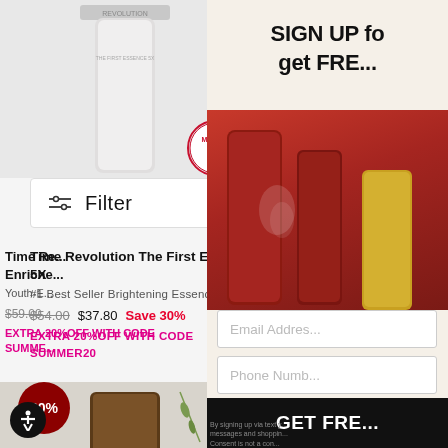[Figure (photo): Product photo of Time Revolution The First Essence 5X bottle (white/silver packaging)]
Filter
Time Revolution The First Essence 5X
#1 Best Seller Brightening Essence
$54.00  $37.80  Save 30%
EXTRA 20%OFF WITH CODE SUMMER20
[Figure (photo): Product photo of Time Revolution The First Essence Enriched bottle, 60% off badge, award badges]
[Figure (photo): Partial product photo of Time Revolution The First Essence Enriched (right column)]
Featu
Time Re... Enriche...
Youth-E...
$59.00
EXTRA 20%OFF WITH CODE
SUMME...
[Figure (screenshot): Email signup popup overlay with title SIGN UP fo... get FRE..., Email Address field, Phone Number field, GET FRE... button, and fine print about text messages]